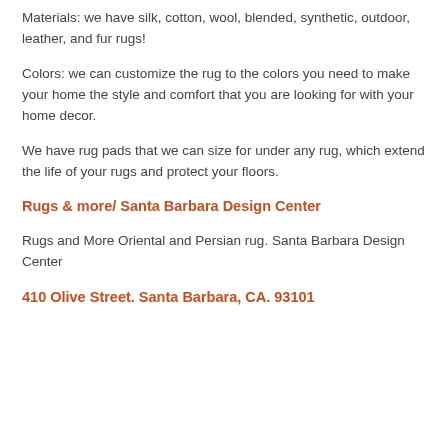Materials: we have silk, cotton, wool, blended, synthetic, outdoor, leather, and fur rugs!
Colors: we can customize the rug to the colors you need to make your home the style and comfort that you are looking for with your home decor.
We have rug pads that we can size for under any rug, which extend the life of your rugs and protect your floors.
Rugs & more/ Santa Barbara Design Center
Rugs and More Oriental and Persian rug. Santa Barbara Design Center
410 Olive Street. Santa Barbara, CA. 93101